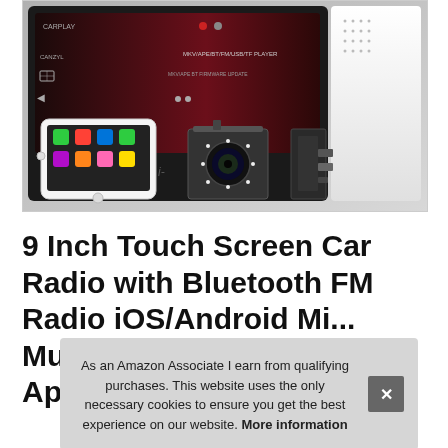[Figure (photo): Product photo of a 9-inch car radio head unit showing the touch screen display with CarPlay interface, alongside a smartphone running iOS CarPlay, a backup camera, and a mounting bracket/hardware accessory.]
9 Inch Touch Screen Car Radio with Bluetooth FM Radio iOS/Android Mi... Mu... Ap...
As an Amazon Associate I earn from qualifying purchases. This website uses the only necessary cookies to ensure you get the best experience on our website. More information